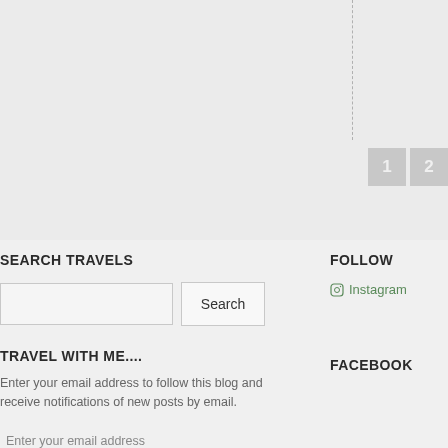[Figure (screenshot): Top gray header area of a travel blog website with dashed vertical line divider and pagination buttons labeled 1 and 2]
SEARCH TRAVELS
[Figure (screenshot): Search input field with a Search button]
FOLLOW
Instagram
TRAVEL WITH ME....
Enter your email address to follow this blog and receive notifications of new posts by email.
Enter your email address
Follow
FACEBOOK